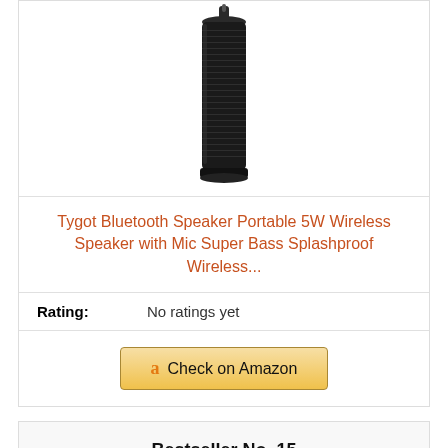[Figure (photo): Tygot Bluetooth portable cylindrical speaker product image, black, shown from slightly above]
Tygot Bluetooth Speaker Portable 5W Wireless Speaker with Mic Super Bass Splashproof Wireless...
| Rating: | No ratings yet |
| --- | --- |
Check on Amazon
Bestseller No. 15
[Figure (photo): Partial view of another bluetooth speaker product image, black, bottom portion visible]